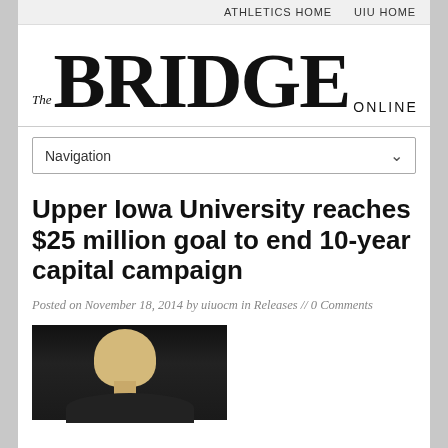ATHLETICS HOME   UIU HOME
The BRIDGE ONLINE
Navigation
Upper Iowa University reaches $25 million goal to end 10-year capital campaign
Posted on November 18, 2014 by uiuocm in Releases // 0 Comments
[Figure (photo): Photograph of a person with short blonde hair against a dark background, appearing to speak at an event.]